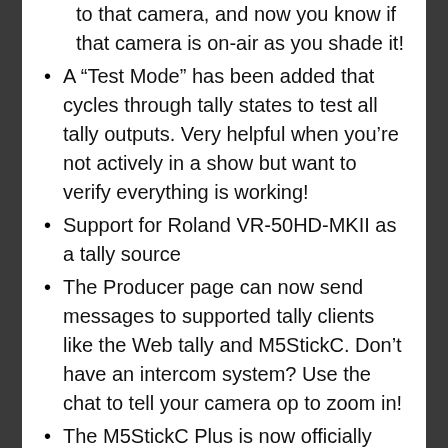to that camera, and now you know if that camera is on-air as you shade it!
A “Test Mode” has been added that cycles through tally states to test all tally outputs. Very helpful when you’re not actively in a show but want to verify everything is working!
Support for Roland VR-50HD-MKII as a tally source
The Producer page can now send messages to supported tally clients like the Web tally and M5StickC. Don’t have an intercom system? Use the chat to tell your camera op to zoom in!
The M5StickC Plus is now officially supported. And M5Stick clients will now retain their last used Device when they reboot or reconnect.
The M5 Atom Matrix is now also supported.